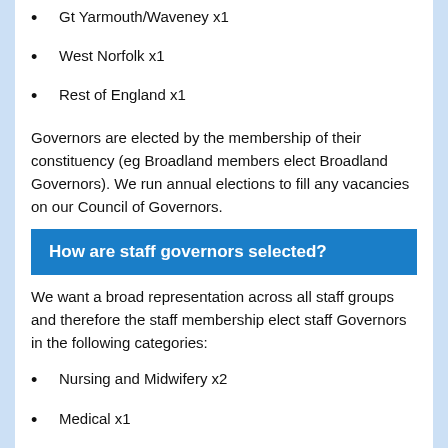Gt Yarmouth/Waveney x1
West Norfolk x1
Rest of England x1
Governors are elected by the membership of their constituency (eg Broadland members elect Broadland Governors). We run annual elections to fill any vacancies on our Council of Governors.
How are staff governors selected?
We want a broad representation across all staff groups and therefore the staff membership elect staff Governors in the following categories:
Nursing and Midwifery x2
Medical x1
Admin and Clerical x1